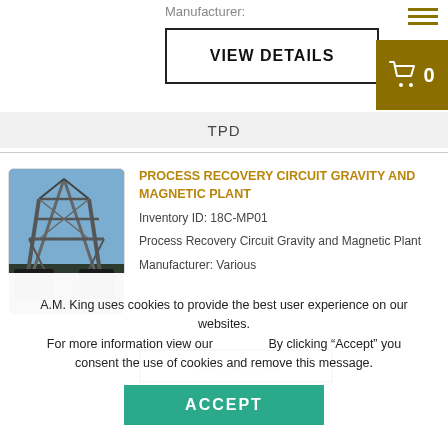Manufacturer:
VIEW DETAILS
TPD
[Figure (photo): Industrial crane or processing plant equipment structure photographed outdoors]
PROCESS RECOVERY CIRCUIT GRAVITY AND MAGNETIC PLANT
Inventory ID:  18C-MP01
Process Recovery Circuit Gravity and Magnetic Plant
Manufacturer: Various
VIEW DETAILS
A.M. King uses cookies to provide the best user experience on our websites. For more information view our   By clicking “Accept” you consent the use of cookies and remove this message.
ACCEPT